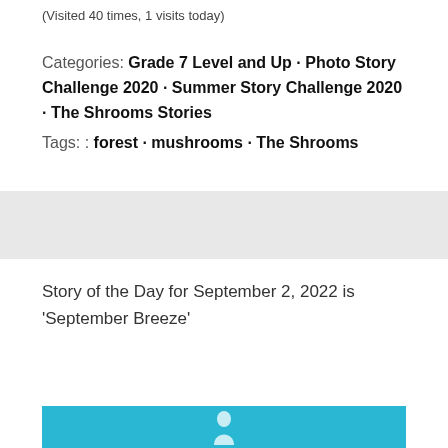(Visited 40 times, 1 visits today)
Categories: Grade 7 Level and Up · Photo Story Challenge 2020 · Summer Story Challenge 2020 · The Shrooms Stories
Tags: : forest · mushrooms · The Shrooms
Story of the Day for September 2, 2022 is 'September Breeze'
[Figure (photo): Cyan/blue banner image at the bottom of the page, partially visible, showing a small figure icon in white against a bright blue background]